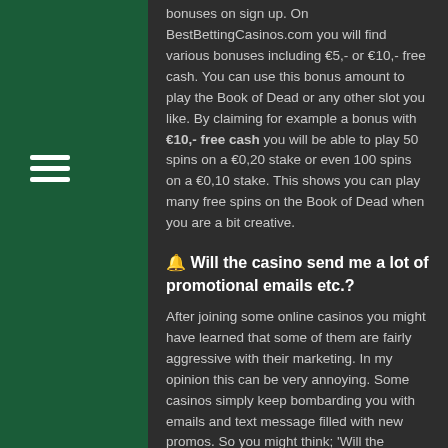bonuses on sign up. On BestBettingCasinos.com you will find various bonuses including €5,- or €10,- free cash. You can use this bonus amount to play the Book of Dead or any other slot you like. By claiming for example a bonus with €10,- free cash you will be able to play 50 spins on a €0,20 stake or even 100 spins on a €0,10 stake. This shows you can play many free spins on the Book of Dead when you are a bit creative.
🔔 Will the casino send me a lot of promotional emails etc.?
After joining some online casinos you might have learned that some of them are fairly aggressive with their marketing. In my opinion this can be very annoying. Some casinos simply keep bombarding you with emails and text message filled with new promos. So you might think; 'Will the casinos on this page send me a lot of emails